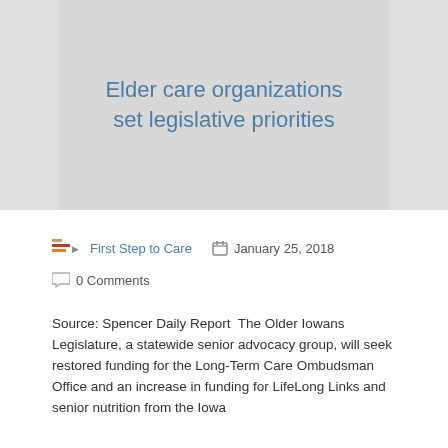Elder care organizations set legislative priorities
First Step to Care   January 25, 2018
0 Comments
Source: Spencer Daily Report  The Older Iowans Legislature, a statewide senior advocacy group, will seek restored funding for the Long-Term Care Ombudsman Office and an increase in funding for LifeLong Links and senior nutrition from the Iowa